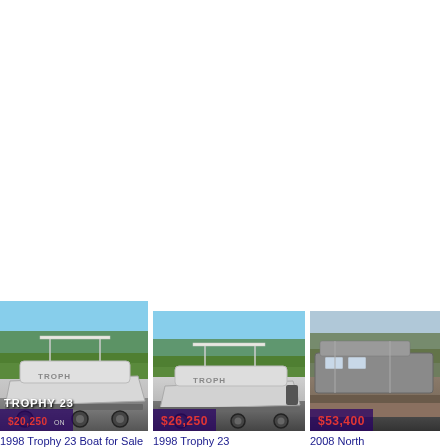[Figure (photo): 1998 Trophy 23 boat on trailer, white boat with T-top, outdoors with trees. Overlay text: TROPHY 23, $20,250 ON]
1998 Trophy 23 Boat for Sale
[Figure (photo): 1998 Trophy 23 boat on trailer, white boat with T-top, outdoors. Price overlay: $26,250]
1998 Trophy 23
[Figure (photo): 2008 North [truncated] boat listing thumbnail. Price overlay: $53,400]
2008 North